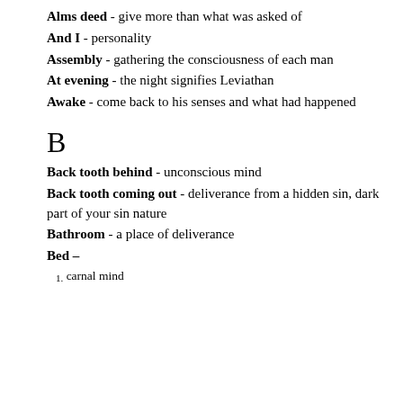Alms deed - give more than what was asked of
And I - personality
Assembly - gathering the consciousness of each man
At evening - the night signifies Leviathan
Awake - come back to his senses and what had happened
B
Back tooth behind - unconscious mind
Back tooth coming out - deliverance from a hidden sin, dark part of your sin nature
Bathroom - a place of deliverance
Bed –
1. carnal mind